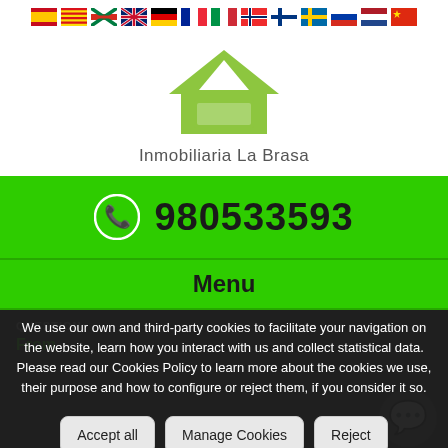[Figure (other): Row of country flag icons for language selection: Spain, Catalonia, Basque Country, UK, Germany, France, Italy, Norway, Finland, Sweden, Russia, Netherlands, China]
[Figure (logo): Inmobiliaria La Brasa logo: green house icon with text 'Inmobiliaria La Brasa' below]
980533593
Menu
We use our own and third-party cookies to facilitate your navigation on the website, learn how you interact with us and collect statistical data. Please read our Cookies Policy to learn more about the cookies we use, their purpose and how to configure or reject them, if you consider it so.
Accept all
Manage Cookies
Reject
QUESTION:
From